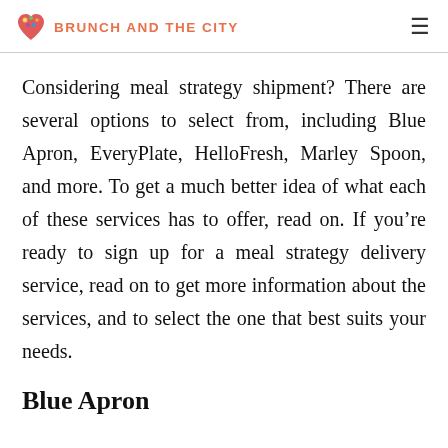BRUNCH AND THE CITY
Considering meal strategy shipment? There are several options to select from, including Blue Apron, EveryPlate, HelloFresh, Marley Spoon, and more. To get a much better idea of what each of these services has to offer, read on. If you’re ready to sign up for a meal strategy delivery service, read on to get more information about the services, and to select the one that best suits your needs.
Blue Apron